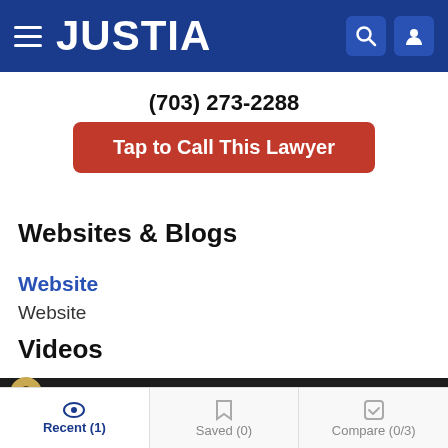JUSTIA
(703) 273-2288
Tap to Call This Lawyer
Websites & Blogs
Website
Website
Videos
[Figure (screenshot): Video thumbnail with dark background and avatar icon]
Recent (1)  Saved (0)  Compare (0/3)